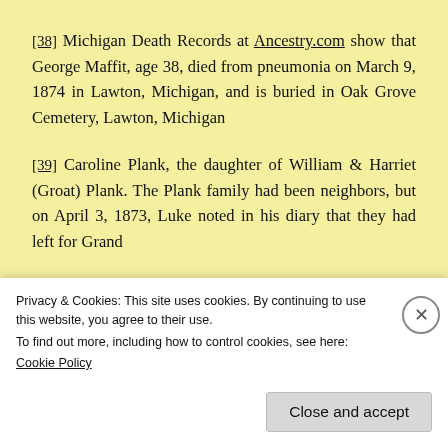[38] Michigan Death Records at Ancestry.com show that George Maffit, age 38, died from pneumonia on March 9, 1874 in Lawton, Michigan, and is buried in Oak Grove Cemetery, Lawton, Michigan
[39] Caroline Plank, the daughter of William & Harriet (Groat) Plank. The Plank family had been neighbors, but on April 3, 1873, Luke noted in his diary that they had left for Grand
Privacy & Cookies: This site uses cookies. By continuing to use this website, you agree to their use.
To find out more, including how to control cookies, see here:
Cookie Policy
Close and accept